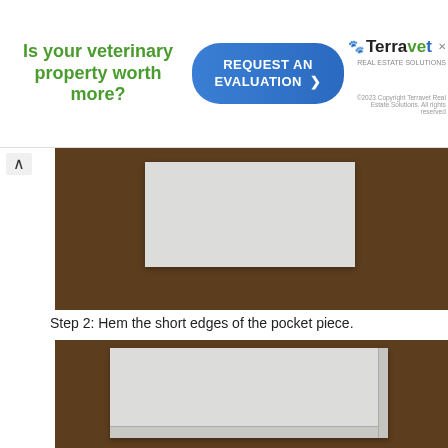[Figure (infographic): Advertisement banner for Terravet Real Estate Solutions. Green text asks 'Is your veterinary property worth more?' with a blue 'REQUEST AN EVALUATION' button and Terravet logo on right.]
[Figure (photo): Photo of a rectangular piece of white/light gray fabric laid flat on a wooden surface, top view.]
Step 2: Hem the short edges of the pocket piece.
[Figure (photo): Photo of white fabric with hemmed short edges visible, laid on a wooden surface, top view.]